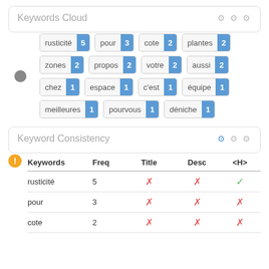Keywords Cloud
[Figure (infographic): Keywords cloud showing French words with frequency badges: rusticité 5, pour 3, cote 2, plantes 2, zones 2, propos 2, votre 2, aussi 2, chez 1, espace 1, c'est 1, équipe 1, meilleures 1, pourvous 1, déniche 1]
Keyword Consistency
| Keywords | Freq | Title | Desc | <H> |
| --- | --- | --- | --- | --- |
| rusticité | 5 | ✗ | ✗ | ✓ |
| pour | 3 | ✗ | ✗ | ✗ |
| cote | 2 | ✗ | ✗ | ✗ |